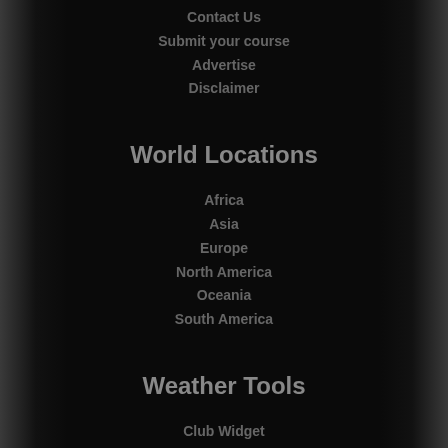Contact Us
Submit your course
Advertise
Disclaimer
World Locations
Africa
Asia
Europe
North America
Oceania
South America
Weather Tools
Club Widget
iPhone App
Android App
Sports Network
SportsPub
BetDecider
NJSportsBookReview